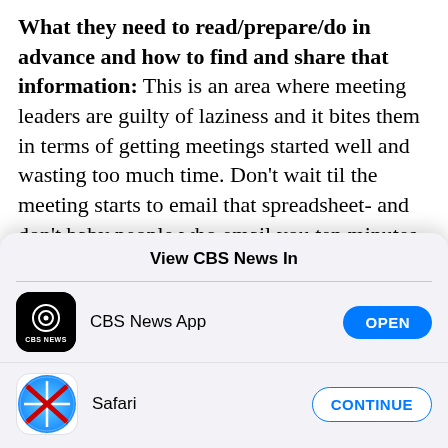What they need to read/prepare/do in advance and how to find and share that information: This is an area where meeting leaders are guilty of laziness and it bites them in terms of getting meetings started well and wasting too much time. Don't wait til the meeting starts to email that spreadsheet- and don't baby people who email you ten minutes before the meeting starts asking for it (because they either deleted it or saved it somewhere and can't remember
[Figure (screenshot): Mobile app selection modal titled 'View CBS News In' with two options: CBS News App with an OPEN button, and Safari with a CONTINUE button.]